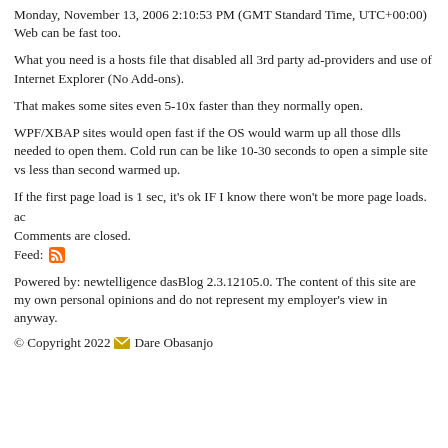Monday, November 13, 2006 2:10:53 PM (GMT Standard Time, UTC+00:00)
Web can be fast too.
What you need is a hosts file that disabled all 3rd party ad-providers and use of Internet Explorer (No Add-ons).
That makes some sites even 5-10x faster than they normally open.
WPF/XBAP sites would open fast if the OS would warm up all those dlls needed to open them. Cold run can be like 10-30 seconds to open a simple site vs less than second warmed up.
If the first page load is 1 sec, it's ok IF I know there won't be more page loads.
ac
Comments are closed.
Feed: [RSS icon]
Powered by: newtelligence dasBlog 2.3.12105.0. The content of this site are my own personal opinions and do not represent my employer's view in anyway.
© Copyright 2022 [email icon] Dare Obasanjo